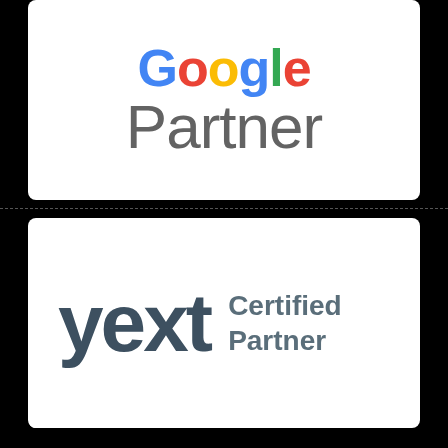[Figure (logo): Google Partner badge: Google logo in multicolor above large gray 'Partner' text, white background with rounded corners]
[Figure (logo): Yext Certified Partner badge: dark teal 'yext' in large bold text alongside 'Certified Partner' in two lines, white background with rounded corners]
OVERVIEW